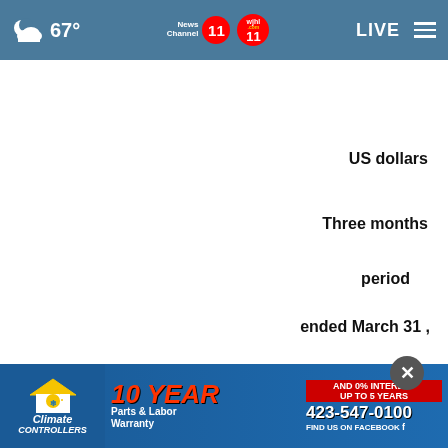67° — News Channel 11 / wjhl.com 11 — LIVE
US dollars
Three months
period
ended March 31 ,
(in thousands)
2022     2021
(Unaudited)
Cash flows from operating activities
[Figure (screenshot): Advertisement banner for Climate Controllers HVAC company: 10 YEAR Parts & Labor Warranty, AND 0% INTEREST UP TO 5 YEARS, phone 423-547-0100, FIND US ON FACEBOOK]